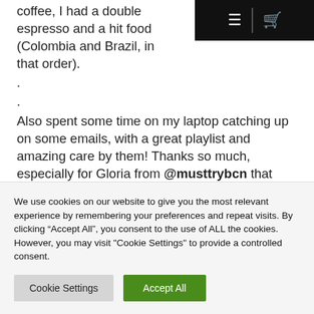coffee, I had a double espresso and a hit food (Colombia and Brazil, in that order).
.
.
Also spent some time on my laptop catching up on some emails, with a great playlist and amazing care by them! Thanks so much, especially for Gloria from @musttrybcn that recommended the spot so many times!
Please follow and like us:
We use cookies on our website to give you the most relevant experience by remembering your preferences and repeat visits. By clicking “Accept All”, you consent to the use of ALL the cookies. However, you may visit "Cookie Settings" to provide a controlled consent.